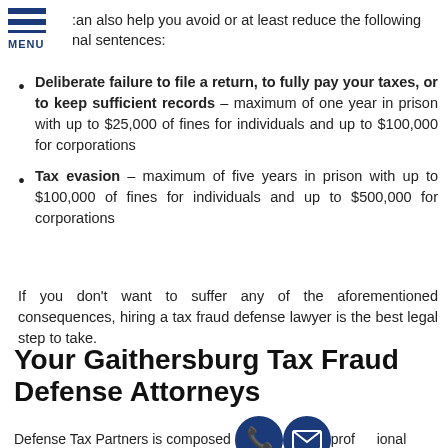MENU
can also help you avoid or at least reduce the following nal sentences:
Deliberate failure to file a return, to fully pay your taxes, or to keep sufficient records – maximum of one year in prison with up to $25,000 of fines for individuals and up to $100,000 for corporations
Tax evasion – maximum of five years in prison with up to $100,000 of fines for individuals and up to $500,000 for corporations
If you don't want to suffer any of the aforementioned consequences, hiring a tax fraud defense lawyer is the best legal step to take.
Your Gaithersburg Tax Fraud Defense Attorneys
Defense Tax Partners is composed of professional Gaithersburg tax fraud defense lawyers and only